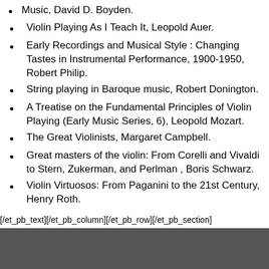Music, David D. Boyden.
Violin Playing As I Teach It, Leopold Auer.
Early Recordings and Musical Style : Changing Tastes in Instrumental Performance, 1900-1950, Robert Philip.
String playing in Baroque music, Robert Donington.
A Treatise on the Fundamental Principles of Violin Playing (Early Music Series, 6), Leopold Mozart.
The Great Violinists, Margaret Campbell.
Great masters of the violin: From Corelli and Vivaldi to Stern, Zukerman, and Perlman , Boris Schwarz.
Violin Virtuosos: From Paganini to the 21st Century, Henry Roth.
[/et_pb_text][/et_pb_column][/et_pb_row][/et_pb_section]